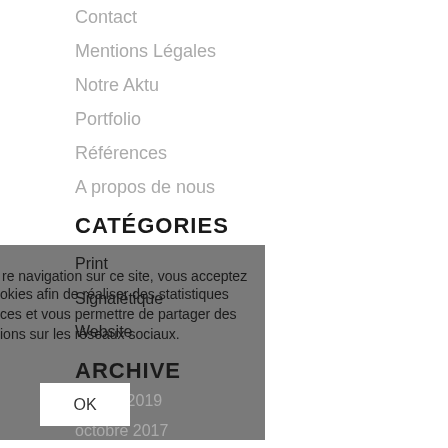Contact
Mentions Légales
Notre Aktu
Portfolio
Références
A propos de nous
CATÉGORIES
Print
Signalétique
Website
re navigation sur ce site, vous acceptez
okies afin de réaliser des statistiques
ces et vous permettre de partager des
ions sur les réseaux sociaux.
ARCHIVE
OK
janvier 2019
octobre 2017
octobre 2016